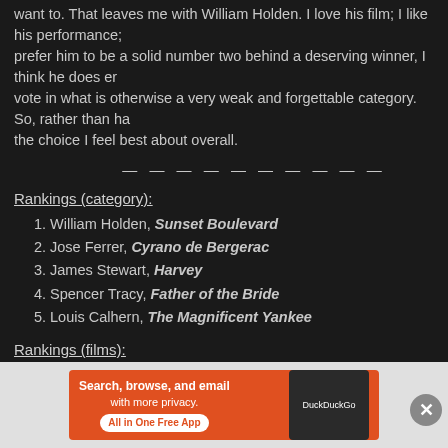want to. That leaves me with William Holden. I love his film; I like his performance; prefer him to be a solid number two behind a deserving winner, I think he does er vote in what is otherwise a very weak and forgettable category. So, rather than ha the choice I feel best about overall.
— — — — — — — — — —
Rankings (category):
1. William Holden, Sunset Boulevard
2. Jose Ferrer, Cyrano de Bergerac
3. James Stewart, Harvey
4. Spencer Tracy, Father of the Bride
5. Louis Calhern, The Magnificent Yankee
Rankings (films):
1. Sunset Boulevard
2. Harvey
3. Father of the Bride
4. The Magnificent Yankee